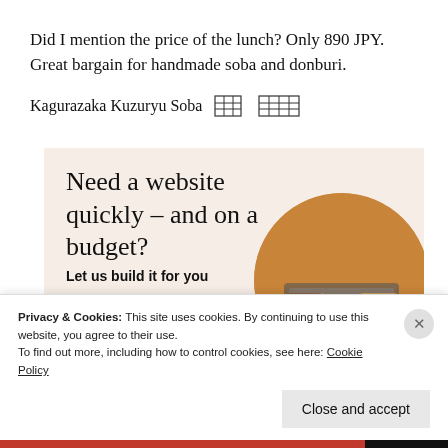Did I mention the price of the lunch? Only 890 JPY. Great bargain for handmade soba and donburi.
Kagurazaka Kuzuryu Soba [kanji characters]
[Figure (screenshot): Advertisement banner with beige background. Headline: 'Need a website quickly – and on a budget?' Subtext: 'Let us build it for you'. Button: 'Let's get started'. Circle image of hands typing on laptop.]
Privacy & Cookies: This site uses cookies. By continuing to use this website, you agree to their use. To find out more, including how to control cookies, see here: Cookie Policy
Close and accept